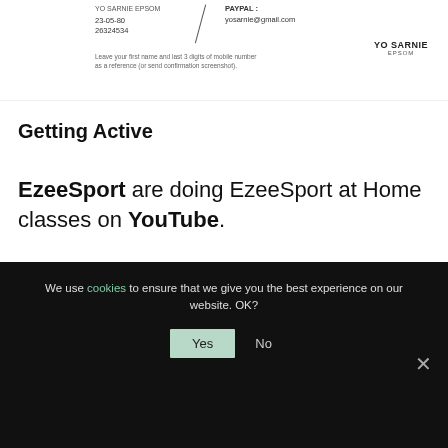[Figure (screenshot): Partial screenshot of a payment/banking detail block with PayPal email, account numbers, reference instructions, and Yo Sarnie Epsom branding]
Getting Active
EzeeSport are doing EzeeSport at Home classes on YouTube.
[Figure (screenshot): EzeeSport AT HOME advertisement banner on orange background with logo and text: JOIN US AT 2 PM FOR]
We use cookies to ensure that we give you the best experience on our website. OK?